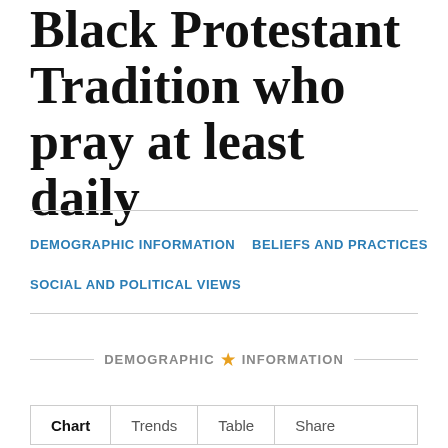Black Protestant Tradition who pray at least daily
DEMOGRAPHIC INFORMATION
BELIEFS AND PRACTICES
SOCIAL AND POLITICAL VIEWS
DEMOGRAPHIC ★ INFORMATION
Chart | Trends | Table | Share